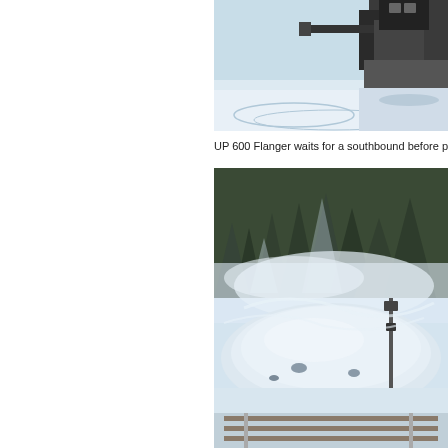[Figure (photo): Snow scene with large machinery (flanger/rail equipment) on snowy tracks, top portion of image cropped]
UP 600 Flanger waits for a southbound before p
[Figure (photo): Large snow pile with blowing snow and evergreen trees in background, railroad tracks visible at bottom, winter scene]